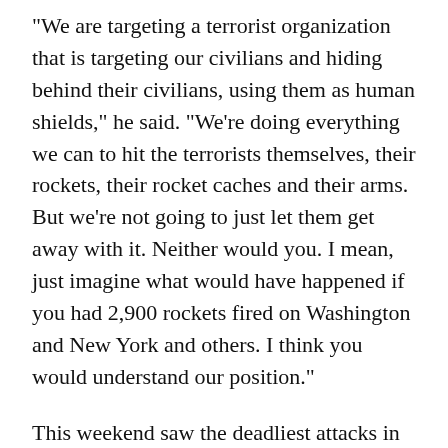"We are targeting a terrorist organization that is targeting our civilians and hiding behind their civilians, using them as human shields," he said. "We're doing everything we can to hit the terrorists themselves, their rockets, their rocket caches and their arms. But we're not going to just let them get away with it. Neither would you. I mean, just imagine what would have happened if you had 2,900 rockets fired on Washington and New York and others. I think you would understand our position."
This weekend saw the deadliest attacks in the conflict between Israel and Hamas, with Israeli airstrikes on Saturday targeting several office and residential buildings in Gaza City, including one tower that housed offices for The Associated Press and Al-Jazeera, as well as apartments. The Israeli